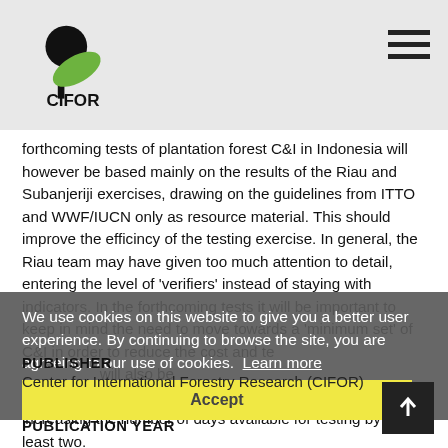CIFOR
forthcoming tests of plantation forest C&I in Indonesia will however be based mainly on the results of the Riau and Subanjeriji exercises, drawing on the guidelines from ITTO and WWF/IUCN only as resource material. This should improve the efficincy of the testing exercise. In general, the Riau team may have given too much attention to detail, entering the level of 'verifiers' instead of staying with indicators. In the forthcoming tests it will be important to keep in mind the need to move towards a 'minimum set' of C&I in order to reduce the cost and tedium of the testing exercise. It will also be important that more time be allocated for the testing in future tests. We anticipate increasing the number of days available for testing by at least two.
We use cookies on this website to give you a better user experience. By continuing to browse the site, you are agreeing to our use of cookies.  Learn more
PUBLISHER
Center for International Forestry Research (CIFOR)
PUBLICATION YEAR